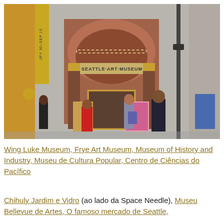[Figure (photo): Exterior photograph of the Seattle Art Museum building facade. The brick and concrete building has a large arched entrance with the text 'SEATTLE·ART·MUSEUM' inscribed above the doors. People and pedestrians are visible on the sidewalk in front, and a yellow banner hangs on a pole to the left. Art installations and posters are visible near the entrance.]
Wing Luke Museum, Frye Art Museum, Museum of History and Industry, Museu de Cultura Popular, Centro de Ciências do Pacífico
Chihuly Jardim e Vidro (ao lado da Space Needle), Museu Bellevue de Artes, O famoso mercado de Seattle,